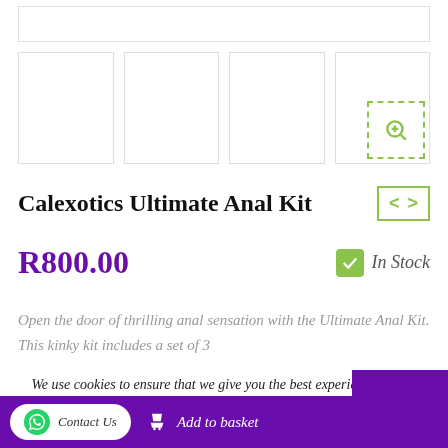[Figure (screenshot): Top banner image strip placeholder]
[Figure (screenshot): Row of 4 product thumbnail images with a zoom button on the last]
Calexotics Ultimate Anal Kit
R800.00
In Stock
Open the door of thrilling anal sensation with the Ultimate Anal Kit. This kinky kit includes a set of 3
We use cookies to ensure that we give you the best experience on our website. If you continue to use this site we will assume that you are happy with it.
Contact Us
Add to basket